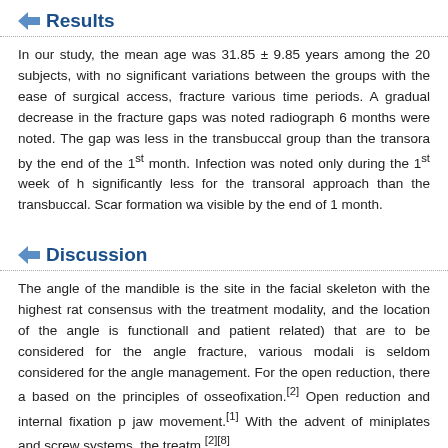Results
In our study, the mean age was 31.85 ± 9.85 years among the 20 subjects, with no significant variations between the groups with the ease of surgical access, fracture various time periods. A gradual decrease in the fracture gaps was noted radiograph 6 months were noted. The gap was less in the transbuccal group than the transora by the end of the 1st month. Infection was noted only during the 1st week of h significantly less for the transoral approach than the transbuccal. Scar formation wa visible by the end of 1 month.
Discussion
The angle of the mandible is the site in the facial skeleton with the highest rat consensus with the treatment modality, and the location of the angle is functionall and patient related) that are to be considered for the angle fracture, various modali is seldom considered for the angle management. For the open reduction, there a based on the principles of osseofixation.[2] Open reduction and internal fixation p jaw movement.[1] With the advent of miniplates and screw systems, the treatm [2][8]